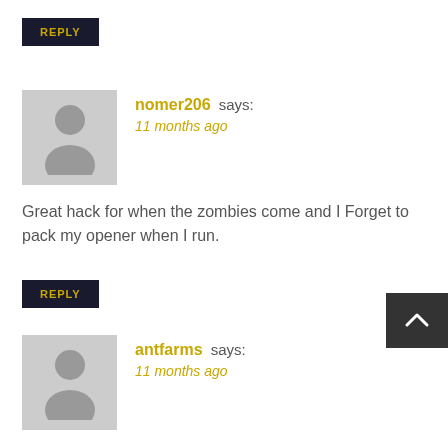REPLY
nomer206 says:
11 months ago
Great hack for when the zombies come and I Forget to pack my opener when I run.
REPLY
antfarms says:
11 months ago
noisygifs
REPLY